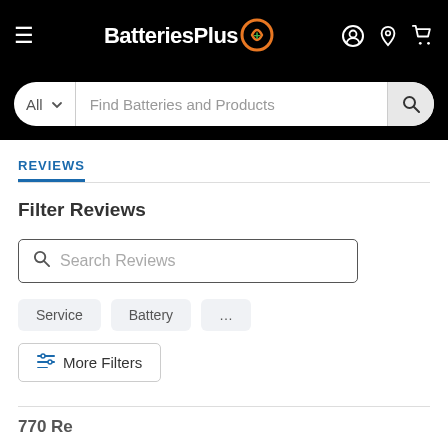[Figure (screenshot): BatteriesPlus navigation bar with hamburger menu, logo, and icons for account, location, and cart]
[Figure (screenshot): Search bar with 'All' dropdown and placeholder text 'Find Batteries and Products' with a search button]
REVIEWS
Filter Reviews
Search Reviews
Service
Battery
...
More Filters
770 Re...